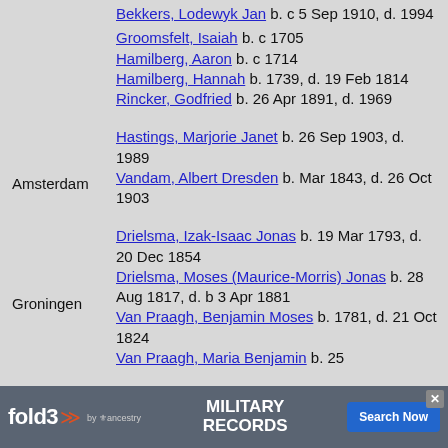Bekkers, Lodewyk Jan  b. c 5 Sep 1910, d. 1994
Groomsfelt, Isaiah  b. c 1705
Hamilberg, Aaron  b. c 1714
Hamilberg, Hannah  b. 1739, d. 19 Feb 1814
Rincker, Godfried  b. 26 Apr 1891, d. 1969
Amsterdam
Hastings, Marjorie Janet  b. 26 Sep 1903, d. 1989
Vandam, Albert Dresden  b. Mar 1843, d. 26 Oct 1903
Groningen
Drielsma, Izak-Isaac Jonas  b. 19 Mar 1793, d. 20 Dec 1854
Drielsma, Moses (Maurice-Morris) Jonas  b. 28 Aug 1817, d. b 3 Apr 1881
Van Praagh, Benjamin Moses  b. 1781, d. 21 Oct 1824
Van Praagh, Maria Benjamin  b. 25
Gro
[Figure (screenshot): fold3 by Ancestry advertisement banner — Military Records, Search Now button]